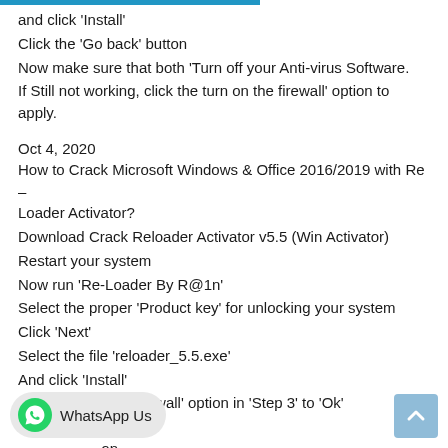and click 'Install'
Click the 'Go back' button
Now make sure that both 'Turn off your Anti-virus Software.
If Still not working, click the turn on the firewall' option to apply.
Oct 4, 2020
How to Crack Microsoft Windows & Office 2016/2019 with Re – Loader Activator?
Download Crack Reloader Activator v5.5 (Win Activator)
Restart your system
Now run 'Re-Loader By R@1n'
Select the proper 'Product key' for unlocking your system
Click 'Next'
Select the file 'reloader_5.5.exe'
And click 'Install'
Then set 'Enable firewall' option in 'Step 3' to 'Ok'
Click 'Go back' (partially cut off)
...on (partially cut off)